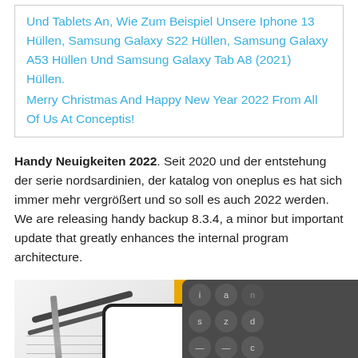Und Tablets An, Wie Zum Beispiel Unsere Iphone 13 Hüllen, Samsung Galaxy S22 Hüllen, Samsung Galaxy A53 Hüllen Und Samsung Galaxy Tab A8 (2021) Hüllen.
Merry Christmas And Happy New Year 2022 From All Of Us At Conceptis!
Handy Neuigkeiten 2022. Seit 2020 und der entstehung der serie nordsardinien, der katalog von oneplus es hat sich immer mehr vergrößert und so soll es auch 2022 werden. We are releasing handy backup 8.3.4, a minor but important update that greatly enhances the internal program architecture.
[Figure (photo): Photo showing a smartphone with Google logo on screen, placed on an orange/yellow background next to a dark grey wireless keyboard, with glasses and a pen on a notebook visible on the left side.]